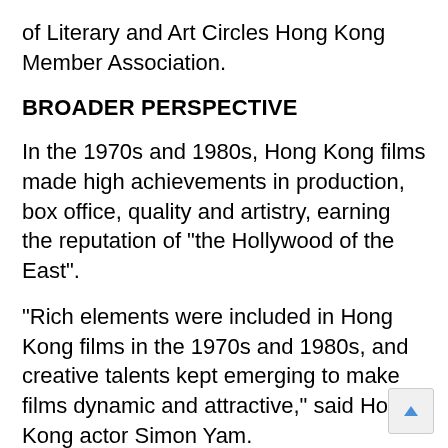of Literary and Art Circles Hong Kong Member Association.
BROADER PERSPECTIVE
In the 1970s and 1980s, Hong Kong films made high achievements in production, box office, quality and artistry, earning the reputation of "the Hollywood of the East".
"Rich elements were included in Hong Kong films in the 1970s and 1980s, and creative talents kept emerging to make films dynamic and attractive," said Hong Kong actor Simon Yam.